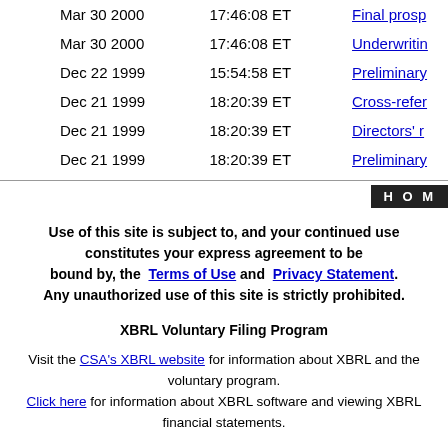| Date | Time | Link |
| --- | --- | --- |
| Mar 30 2000 | 17:46:08 ET | Final prosp... |
| Mar 30 2000 | 17:46:08 ET | Underwritin... |
| Dec 22 1999 | 15:54:58 ET | Preliminary... |
| Dec 21 1999 | 18:20:39 ET | Cross-refer... |
| Dec 21 1999 | 18:20:39 ET | Directors' r... |
| Dec 21 1999 | 18:20:39 ET | Preliminary... |
[Figure (other): HOME navigation bar button with black background and white text]
Use of this site is subject to, and your continued use constitutes your express agreement to be bound by, the Terms of Use and Privacy Statement. Any unauthorized use of this site is strictly prohibited.
XBRL Voluntary Filing Program
Visit the CSA's XBRL website for information about XBRL and the voluntary program. Click here for information about XBRL software and viewing XBRL financial statements.